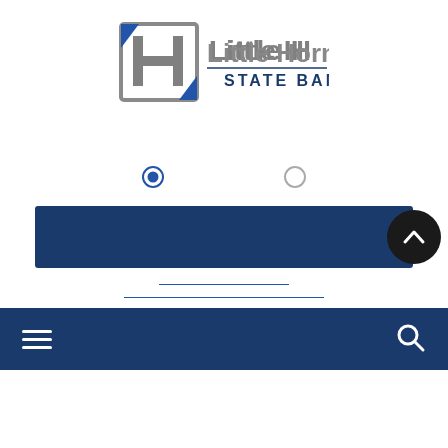[Figure (logo): Little Horn State Bank logo with stylized LH monogram icon in gray/blue and 'Little Horn STATE BANK' text in blue]
[Figure (infographic): Website UI screenshot showing radio buttons, dark blue banner with scroll-to-top button, input field underlines, and a dark blue navigation bar with hamburger menu and search icon at bottom]